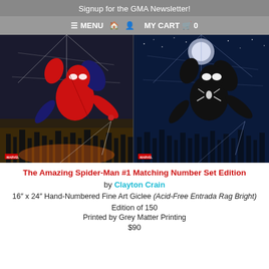Signup for the GMA Newsletter!
≡ MENU  🏠  👤  MY CART 🛒  0
[Figure (photo): Two side-by-side comic art prints of Spider-Man. Left: Classic red-and-blue Spider-Man costume crouching above a city. Right: Black symbiote suit Spider-Man in the same pose with a blue night sky background.]
The Amazing Spider-Man #1 Matching Number Set Edition
by Clayton Crain
16" x 24" Hand-Numbered Fine Art Giclee (Acid-Free Entrada Rag Bright)
Edition of 150
Printed by Grey Matter Printing
$90